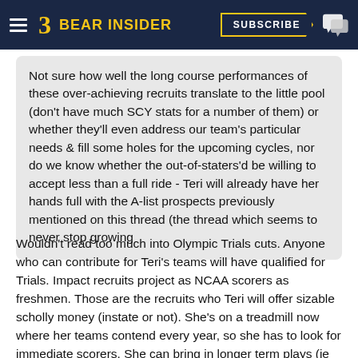BEAR INSIDER — SUBSCRIBE
Not sure how well the long course performances of these over-achieving recruits translate to the little pool (don't have much SCY stats for a number of them) or whether they'll even address our team's particular needs & fill some holes for the upcoming cycles, nor do we know whether the out-of-staters'd be willing to accept less than a full ride - Teri will already have her hands full with the A-list prospects previously mentioned on this thread (the thread which seems to never stop growing
Wouldn't read too much into Olympic Trials cuts. Anyone who can contribute for Teri's teams will have qualified for Trials. Impact recruits project as NCAA scorers as freshmen. Those are the recruits who Teri will offer sizable scholly money (instate or not). She's on a treadmill now where her teams contend every year, so she has to look for immediate scorers. She can bring in longer term plays (ie NCAA scorers as upperclassman), but she won't spend much on them and they'll all likely be in-state unless they have some compelling ties to Cal (legacies, club/high school teammates at Cal, Pac-12 footprint, really good students).
Pitzer, Madden, Cain, Edelman, and Kovac are all 2017 out of state